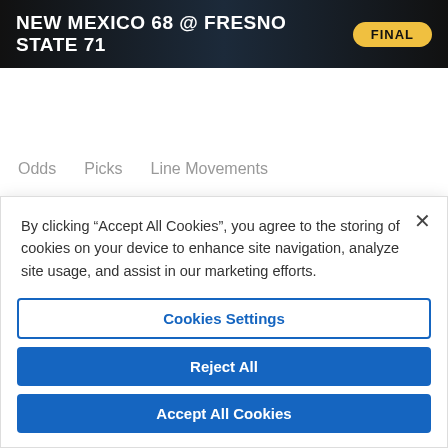NEW MEXICO 68 @ FRESNO STATE 71 FINAL
Odds   Picks   Line Movements
|  | FRESNO | UNM |  |
| --- | --- | --- | --- |
| 3:30 AM ET | 10.5  -110 | 10.5  -110 | -110 |
| Mon Feb 28, 8:28 AM ET | FRESNO -10.5  -110 | UNM -10.5  -110 | 134 -110 |
By clicking “Accept All Cookies”, you agree to the storing of cookies on your device to enhance site navigation, analyze site usage, and assist in our marketing efforts.
Cookies Settings
Reject All
Accept All Cookies